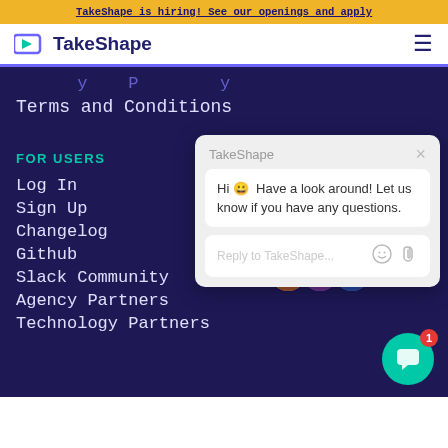TakeShape is hiring! See our openings and apply
[Figure (logo): TakeShape logo with cyan/purple icon and wordmark]
Terms and Conditions
FOR USERS
Log In
Sign Up
Changelog
Github
Slack Community
Agency Partners
Technology Partners
[Figure (screenshot): TakeShape live chat popup with message: Hi 😀 Have a look around! Let us know if you have any questions. Reply to TakeShape... input field with emoji and attachment icons. Green chat bubble button with red badge showing 1.]